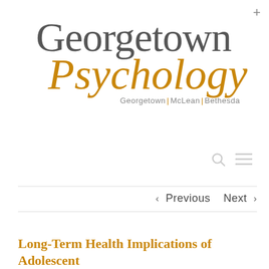[Figure (logo): Georgetown Psychology logo with 'Georgetown' in gray serif font, 'Psychology' in gold italic cursive font, and tagline 'Georgetown | McLean | Bethesda' in small gray text]
‹ Previous   Next ›
Long-Term Health Implications of Adolescent